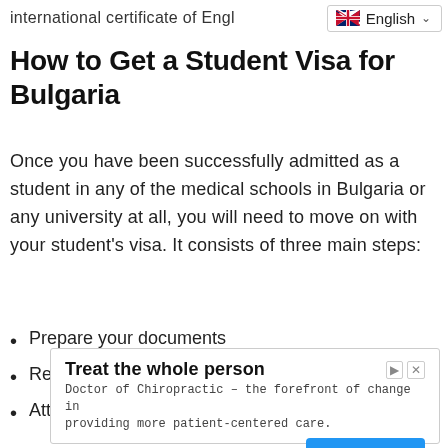international certificate of Engl…
How to Get a Student Visa for Bulgaria
Once you have been successfully admitted as a student in any of the medical schools in Bulgaria or any university at all, you will need to move on with your student's visa. It consists of three main steps:
Prepare your documents
Register
Attend interview
[Figure (screenshot): Advertisement box: 'Treat the whole person' - Doctor of Chiropractic – the forefront of change in providing more patient-centered care. info.scuhs.edu | Learn More button]